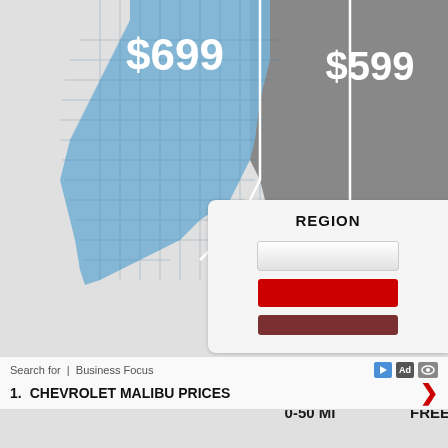[Figure (map): Partial US map infographic showing regional pricing. Western region (California/Nevada area) shown in blue with '$699' label, eastern region shown in gray with '$599' label, and a dark/black region in the far right. Labels '0-50 MI' and 'FREE' appear at bottom right of map area.]
REGION
[Figure (infographic): Legend panel with 'REGION' header and three colored bars: white/light gray bar, red bar, and dark brown/maroon bar.]
Search for  |  Business Focus
1.   CHEVROLET MALIBU PRICES